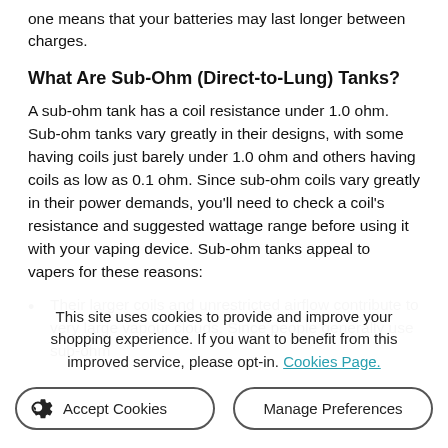one means that your batteries may last longer between charges.
What Are Sub-Ohm (Direct-to-Lung) Tanks?
A sub-ohm tank has a coil resistance under 1.0 ohm. Sub-ohm tanks vary greatly in their designs, with some having coils just barely under 1.0 ohm and others having coils as low as 0.1 ohm. Since sub-ohm coils vary greatly in their power demands, you'll need to check a coil's resistance and suggested wattage range before using it with your vaping device. Sub-ohm tanks appeal to vapers for these reasons:
Their larger coils and unrestricted airflow contribute to very large vapour clouds. Since people generally use sub-ohm
This site uses cookies to provide and improve your shopping experience. If you want to benefit from this improved service, please opt-in. Cookies Page.
Accept Cookies
Manage Preferences